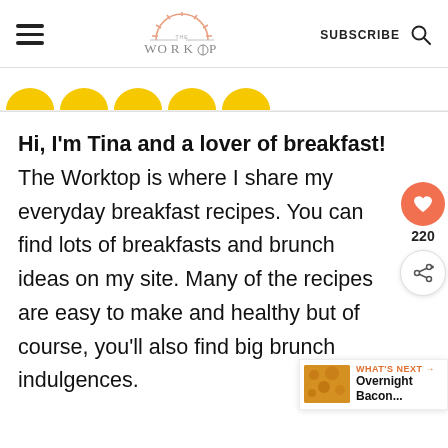THE WORKTOP | SUBSCRIBE
[Figure (illustration): Row of yellow semicircles at the top of the page content area]
Hi, I'm Tina and a lover of breakfast! The Worktop is where I share my everyday breakfast recipes. You can find lots of breakfasts and brunch ideas on my site. Many of the recipes are easy to make and healthy but of course, you'll also find big brunch indulgences.